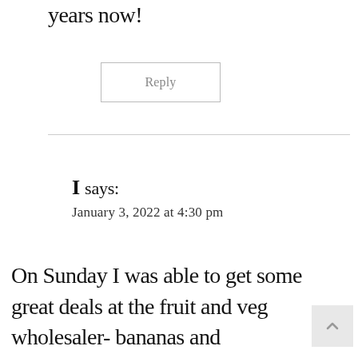years now!
Reply
I says:
January 3, 2022 at 4:30 pm
On Sunday I was able to get some great deals at the fruit and veg wholesaler- bananas and mandarins for 50 cents per